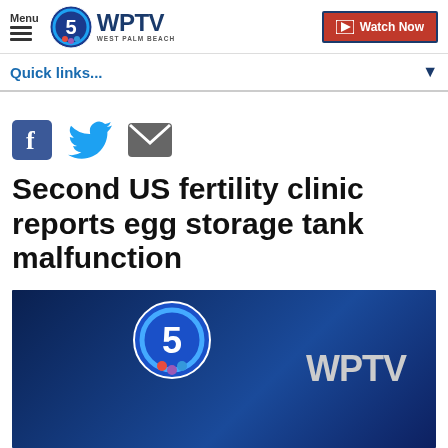Menu | WPTV WEST PALM BEACH | Watch Now
Quick links...
[Figure (other): Social sharing icons: Facebook, Twitter, Email]
Second US fertility clinic reports egg storage tank malfunction
[Figure (screenshot): WPTV news video thumbnail with WPTV channel 5 logo on dark blue background]